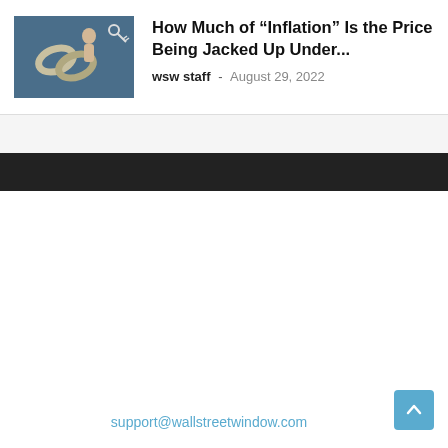[Figure (illustration): Thumbnail image showing a person with chain links on a blue background]
How Much of “Inflation” Is the Price Being Jacked Up Under...
wsw staff - August 29, 2022
support@wallstreetwindow.com